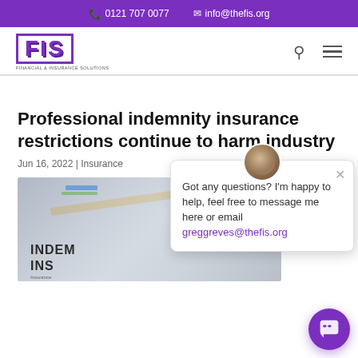0121 707 0077  info@thefis.org
[Figure (logo): FIS (Financial & Insurance Solutions) logo in purple with border]
Professional indemnity insurance restrictions continue to harm industry
Jun 16, 2022 | Insurance
[Figure (photo): Close-up photo of documents with text INDEMNITY INSURANCE and a pen]
Got any questions? I'm happy to help, feel free to message me here or email greggreves@thefis.org